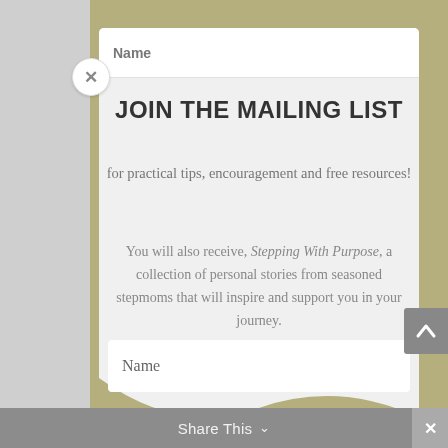Name
JOIN THE MAILING LIST
for practical tips, encouragement and free resources!
You will also receive, Stepping With Purpose, a collection of personal stories from seasoned stepmoms that will inspire and support you in your journey.
Name
Email
Share This